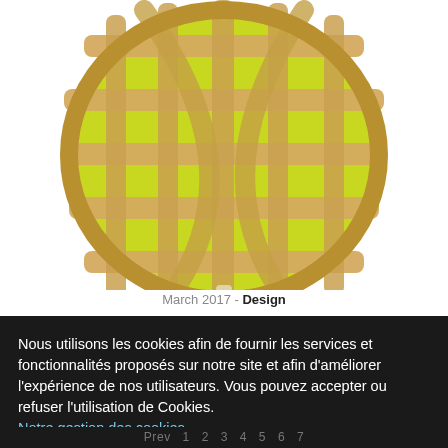[Figure (photo): Close-up photo of a spherical pendant lamp shade made of wooden lattice strips with yellow-green color visible through the gaps, against a white background.]
March 2017 - Design
Nous utilisons les cookies afin de fournir les services et fonctionnalités proposés sur notre site et afin d'améliorer l'expérience de nos utilisateurs. Vous pouvez accepter ou refuser l'utilisation de Cookies.
Notre gestion des cookies
Je refuse
J'accepte
Paramétrage des cookies :
✅ Nécessaires au bon fonctionnement du site |
✅ Statistiques
Prev  1  2  3  4  5  6  7